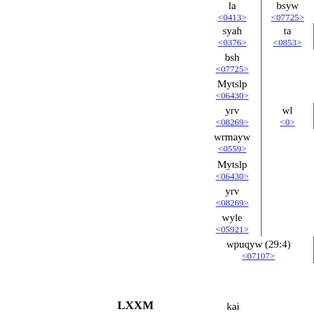| la | bsyw |
| <0413> | <07725> |
| syah | ta |
| <0376> | <0853> |
| bsh |  |
| <07725> |  |
| Mytslp |  |
| <06430> |  |
| yrv | wl |
| <08269> | <0> |
| wrmayw |  |
| <0559> |  |
| Mytslp |  |
| <06430> |  |
| yrv |  |
| <08269> |  |
| wyle |  |
| <05921> |  |
| wpuqyw (29:4) |  |
| <07107> |  |
LXXM
kai